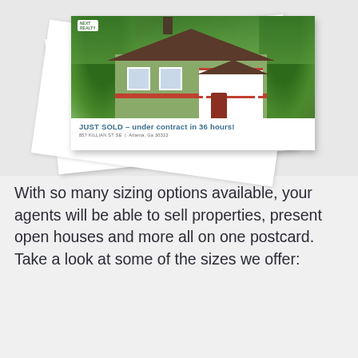[Figure (photo): A stack of real estate postcards. The front postcard shows a green craftsman-style house with a red trim porch and the text 'JUST SOLD – under contract in 36 hours!' with address '857 KILLIAN ST SE | Atlanta, Ga 30312'. A Next Realty logo is visible. Additional postcards are visible underneath, slightly rotated.]
With so many sizing options available, your agents will be able to sell properties, present open houses and more all on one postcard. Take a look at some of the sizes we offer: